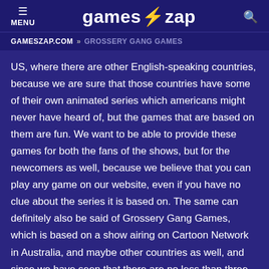MENU | games⚡zap
GAMESZAP.COM » GROSSERY GANG GAMES
US, where there are other English-speaking countries, because we are sure that those countries have some of their own animated series which americans might never have heard of, but the games that are based on them are fun. We want to be able to provide these games for both the fans of the shows, but for the newcomers as well, because we believe that you can play any game on our website, even if you have no clue about the series it is based on. The same can definitely also be said of Grossery Gang Games, which is based on a show airing on Cartoon Network in Australia, and maybe other countries as well, and since we have seen that there are no less than three games currently available in this series, we knew the category had to be created, and these games shared with all of you.